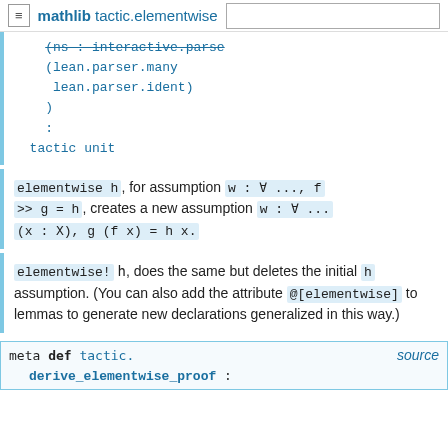mathlib tactic.elementwise
(ns : interactive.parse
  (lean.parser.many
   lean.parser.ident)
  )
  :
tactic unit
elementwise h, for assumption w : ∀ ..., f >> g = h, creates a new assumption w : ∀ ... (x : X), g (f x) = h x.
elementwise! h, does the same but deletes the initial h assumption. (You can also add the attribute @[elementwise] to lemmas to generate new declarations generalized in this way.)
meta def tactic.   source
    derive_elementwise_proof :